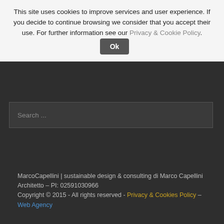This site uses cookies to improve services and user experience. If you decide to continue browsing we consider that you accept their use. For further information see our Privacy & Cookie Policy. Ok
Search ...
MarcoCapellini | sustainable design & consulting di Marco Capellini Architetto – PI: 02591030966 Copyright © 2015 - All rights reserved - Privacy & Cookies Policy – Web Agency